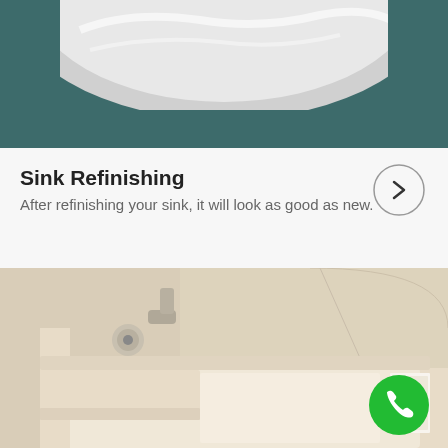[Figure (photo): Close-up photo of a white sink/bathtub top with teal/dark background, showing a polished white rim.]
Sink Refinishing
After refinishing your sink, it will look as good as new.
[Figure (other): Circular arrow button pointing right.]
[Figure (photo): Photo of a beige/cream colored bathtub with tub surround, showing a walk-in tub or standard tub with faucet and valve handle on the left wall.]
[Figure (other): Green circular call/phone button with white phone icon in bottom right corner.]